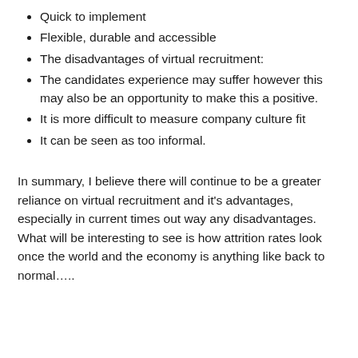Quick to implement
Flexible, durable and accessible
The disadvantages of virtual recruitment:
The candidates experience may suffer however this may also be an opportunity to make this a positive.
It is more difficult to measure company culture fit
It can be seen as too informal.
In summary, I believe there will continue to be a greater reliance on virtual recruitment and it's advantages, especially in current times out way any disadvantages. What will be interesting to see is how attrition rates look once the world and the economy is anything like back to normal…..